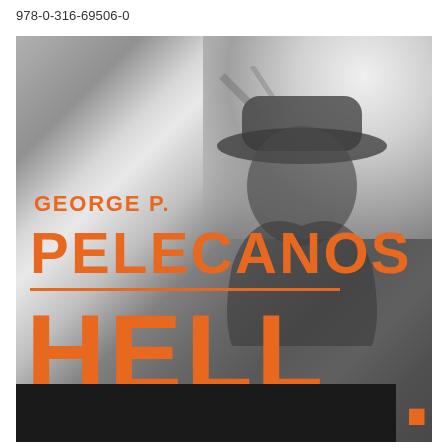978-0-316-69506-0
[Figure (photo): Book cover for 'Hell' by George P. Pelecanos. Grayscale background with a shadowy silhouette figure wearing a hat. Orange bold text reads 'GEORGE P. PELECANOS' then a horizontal orange line, then large orange letters 'HELL...' with the bottom portion redacted by a dark black bar.]